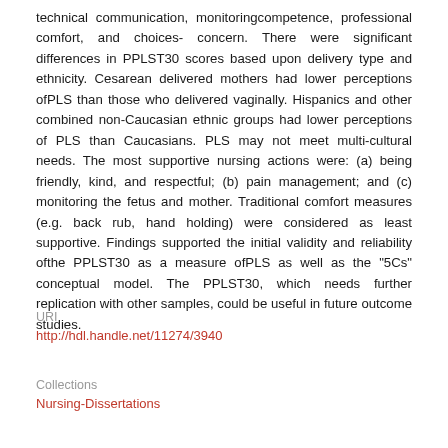technical communication, monitoringcompetence, professional comfort, and choices- concern. There were significant differences in PPLST30 scores based upon delivery type and ethnicity. Cesarean delivered mothers had lower perceptions ofPLS than those who delivered vaginally. Hispanics and other combined non-Caucasian ethnic groups had lower perceptions of PLS than Caucasians. PLS may not meet multi-cultural needs. The most supportive nursing actions were: (a) being friendly, kind, and respectful; (b) pain management; and (c) monitoring the fetus and mother. Traditional comfort measures (e.g. back rub, hand holding) were considered as least supportive. Findings supported the initial validity and reliability ofthe PPLST30 as a measure ofPLS as well as the "5Cs" conceptual model. The PPLST30, which needs further replication with other samples, could be useful in future outcome studies.
URI
http://hdl.handle.net/11274/3940
Collections
Nursing-Dissertations